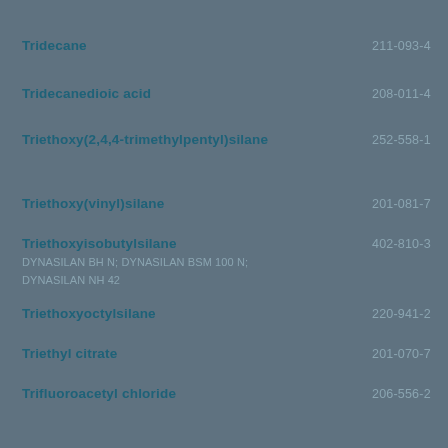| Name | EC Number | CAS Number |
| --- | --- | --- |
| Tridecane | 211-093-4 | 629-50-5 |
| Tridecanedioic acid | 208-011-4 | 505-52-2 |
| Triethoxy(2,4,4-trimethylpentyl)silane | 252-558-1 | 35435-21-3 |
| Triethoxy(vinyl)silane | 201-081-7 | 78-08-0 |
| Triethoxyisobutylsilane
DYNASILAN BH N; DYNASILAN BSM 100 N; DYNASILAN NH 42 | 402-810-3 | 17980-47-1 |
| Triethoxyoctylsilane | 220-941-2 | 2943-75-1 |
| Triethyl citrate | 201-070-7 | 77-93-0 |
| Trifluoroacetyl chloride | 206-556-2 | 354-32-5 |